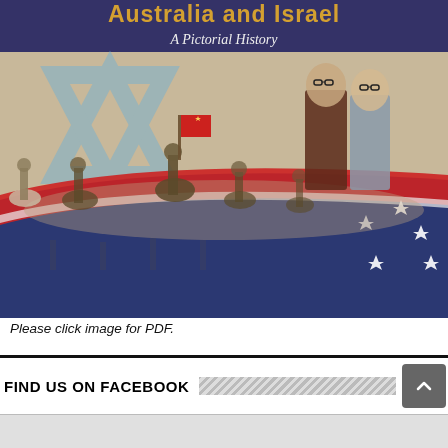[Figure (illustration): Book cover image showing 'Australia and Israel: A Pictorial History'. Features a composite image with an Australian flag (navy blue with red stripe and stars), a Star of David (light blue), soldiers on horseback carrying a red flag, and two men in suits (political figures) in the background.]
Please click image for PDF.
FIND US ON FACEBOOK